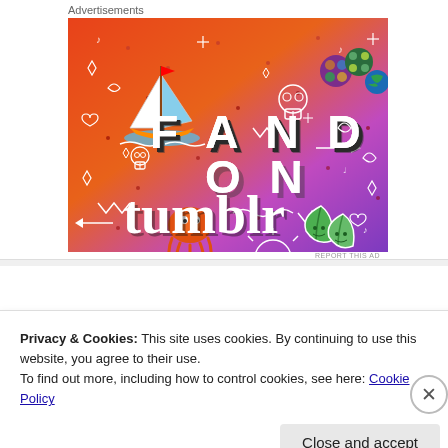Advertisements
[Figure (illustration): Tumblr advertisement banner with gradient background (orange to purple), showing 'FANDOM ON tumblr' text with cartoon doodles including a sailboat, skull, octopus, leaves, and various decorative elements.]
REPORT THIS AD
Privacy & Cookies: This site uses cookies. By continuing to use this website, you agree to their use.
To find out more, including how to control cookies, see here: Cookie Policy
Close and accept
Advertisements